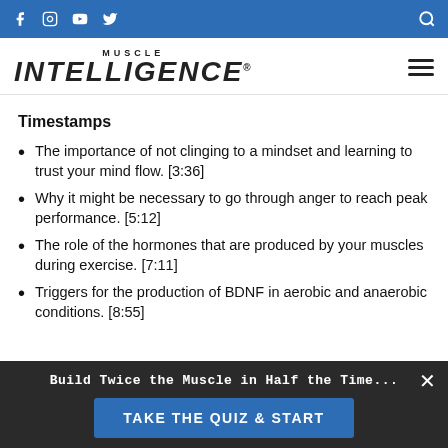Muscle Intelligence — social icons and search bar
Timestamps
The importance of not clinging to a mindset and learning to trust your mind flow. [3:36]
Why it might be necessary to go through anger to reach peak performance. [5:12]
The role of the hormones that are produced by your muscles during exercise. [7:11]
Triggers for the production of BDNF in aerobic and anaerobic conditions. [8:55]
Build Twice the Muscle in Half the Time...
TAKE THE QUIZ & START